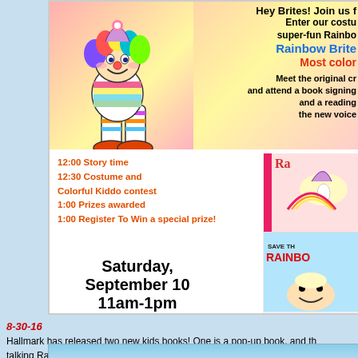[Figure (illustration): Hallmark Rainbow Brite event promotional advertisement. Features a colorful clown/Rainbow Brite character illustration at top left, event schedule in orange text, Saturday September 10 11am-1pm at Hallmark Gold Crown Crown Center, and Rainbow Brite book images on the right side.]
8-30-16
Hallmark has released two new kids books! One is a pop-up book, and the talking Rainbow Brite figure. They're now available in stores and online :)
[Figure (photo): Bottom photo, partially visible, light blue background]